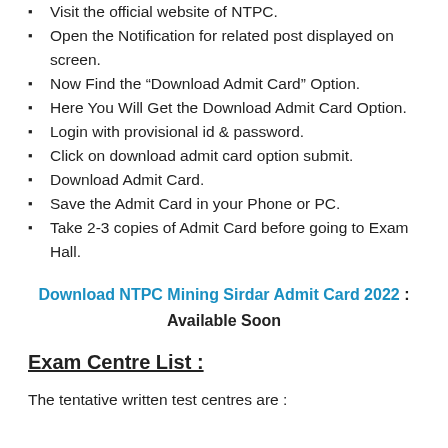Visit the official website of NTPC.
Open the Notification for related post displayed on screen.
Now Find the “Download Admit Card” Option.
Here You Will Get the Download Admit Card Option.
Login with provisional id & password.
Click on download admit card option submit.
Download Admit Card.
Save the Admit Card in your Phone or PC.
Take 2-3 copies of Admit Card before going to Exam Hall.
Download NTPC Mining Sirdar Admit Card 2022 : Available Soon
Exam Centre List :
The tentative written test centres are :